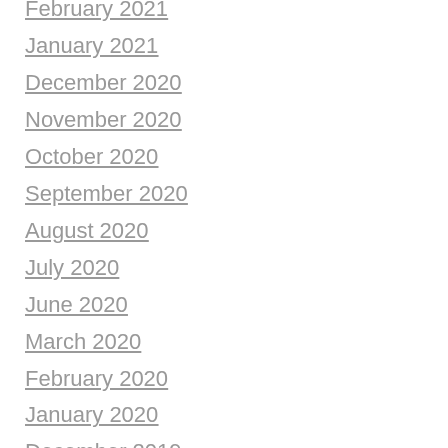February 2021
January 2021
December 2020
November 2020
October 2020
September 2020
August 2020
July 2020
June 2020
March 2020
February 2020
January 2020
December 2019
November 2019
October 2019
September 2019
August 2019
July 2019
June 2019